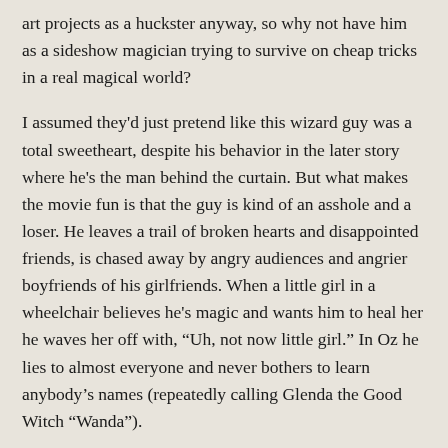art projects as a huckster anyway, so why not have him as a sideshow magician trying to survive on cheap tricks in a real magical world?

I assumed they'd just pretend like this wizard guy was a total sweetheart, despite his behavior in the later story where he's the man behind the curtain. But what makes the movie fun is that the guy is kind of an asshole and a loser. He leaves a trail of broken hearts and disappointed friends, is chased away by angry audiences and angrier boyfriends of his girlfriends. When a little girl in a wheelchair believes he's magic and wants him to heal her he waves her off with, "Uh, not now little girl." In Oz he lies to almost everyone and never bothers to learn anybody's names (repeatedly calling Glenda the Good Witch "Wanda").